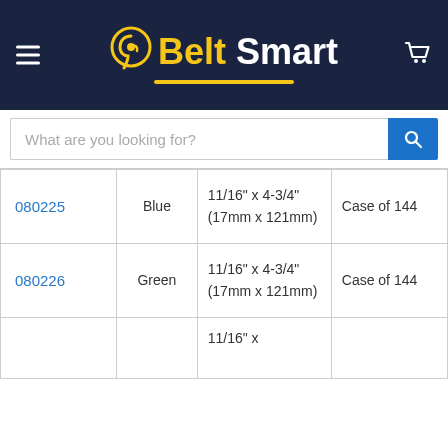Belt Smart
What are you looking for?
| SKU | Color | Size | Quantity |
| --- | --- | --- | --- |
| 080225 | Blue | 11/16" x 4-3/4" (17mm x 121mm) | Case of 144 |
| 080226 | Green | 11/16" x 4-3/4" (17mm x 121mm) | Case of 144 |
|  |  | 11/16" x ... |  |